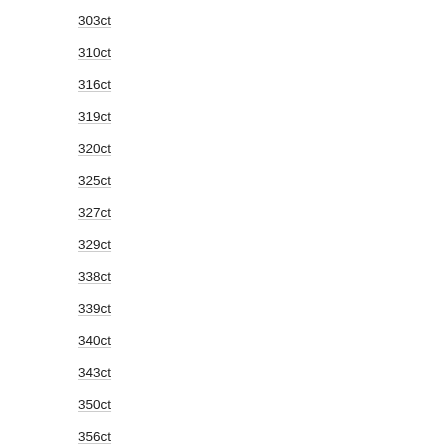303ct
310ct
316ct
319ct
320ct
325ct
327ct
329ct
338ct
339ct
340ct
343ct
350ct
356ct